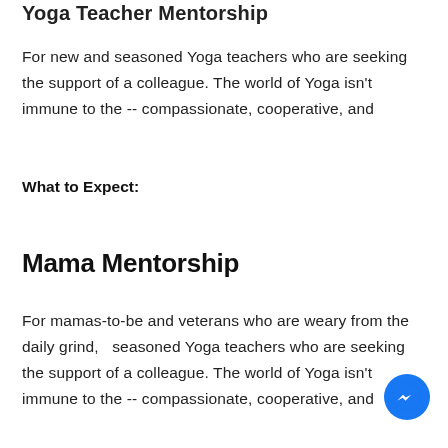Yoga Teacher Mentorship
For new and seasoned Yoga teachers who are seeking the support of a colleague. The world of Yoga isn't immune to the -- compassionate, cooperative, and
What to Expect:
Mama Mentorship
For mamas-to-be and veterans who are weary from the daily grind,   seasoned Yoga teachers who are seeking the support of a colleague. The world of Yoga isn't immune to the -- compassionate, cooperative, and